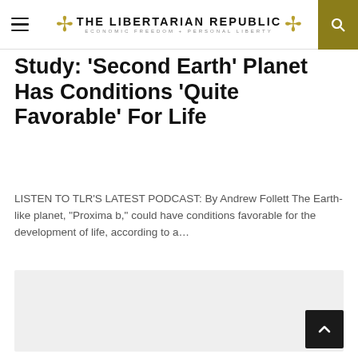THE LIBERTARIAN REPUBLIC — ECONOMIC FREEDOM + PERSONAL LIBERTY
Study: 'Second Earth' Planet Has Conditions 'Quite Favorable' For Life
LISTEN TO TLR'S LATEST PODCAST: By Andrew Follett The Earth-like planet, "Proxima b," could have conditions favorable for the development of life, according to a…
[Figure (photo): Light gray placeholder image area below the article summary]